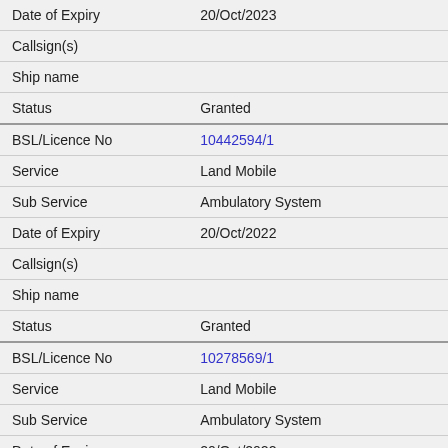| Field | Value |
| --- | --- |
| Date of Expiry | 20/Oct/2023 |
| Callsign(s) |  |
| Ship name |  |
| Status | Granted |
| BSL/Licence No | 10442594/1 |
| Service | Land Mobile |
| Sub Service | Ambulatory System |
| Date of Expiry | 20/Oct/2022 |
| Callsign(s) |  |
| Ship name |  |
| Status | Granted |
| BSL/Licence No | 10278569/1 |
| Service | Land Mobile |
| Sub Service | Ambulatory System |
| Date of Expiry | 20/Oct/2022 |
| Callsign(s) |  |
| Ship name |  |